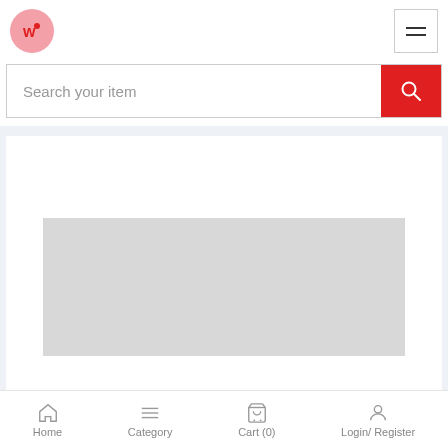[Figure (logo): Pink circular logo with stylized 'W' icon]
[Figure (screenshot): Hamburger menu button with three horizontal lines, bordered box]
Search your item
[Figure (screenshot): E-commerce product listing page wireframe with gray placeholder image area on light blue background]
Home
Category
Cart (0)
Login/ Register